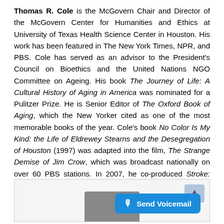Thomas R. Cole is the McGovern Chair and Director of the McGovern Center for Humanities and Ethics at University of Texas Health Science Center in Houston. His work has been featured in The New York Times, NPR, and PBS. Cole has served as an advisor to the President's Council on Bioethics and the United Nations NGO Committee on Ageing. His book The Journey of Life: A Cultural History of Aging in America was nominated for a Pulitzer Prize. He is Senior Editor of The Oxford Book of Aging, which the New Yorker cited as one of the most memorable books of the year. Cole's book No Color Is My Kind: the Life of Eldrewey Stearns and the Desegregation of Houston (1997) was adapted into the film, The Strange Demise of Jim Crow, which was broadcast nationally on over 60 PBS stations. In 2007, he co-produced Stroke: Conversations and Explanations, a prize-winning film about the invisible world of stroke survivors.
[Figure (photo): A framed box at the bottom of the page containing a partial photo of a person and a 'Send Voicemail' button overlay in blue.]